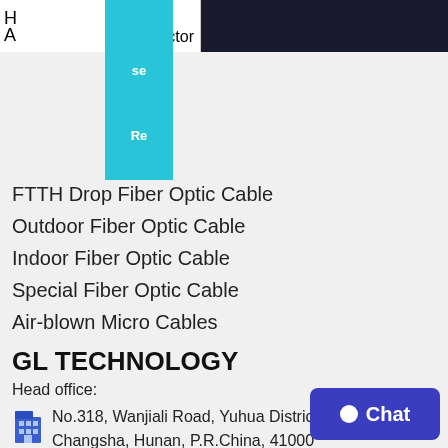H ... se ... A ... Re ... ductor
FTTH Drop Fiber Optic Cable
Outdoor Fiber Optic Cable
Indoor Fiber Optic Cable
Special Fiber Optic Cable
Air-blown Micro Cables
GL TECHNOLOGY
Head office:
No.318, Wanjiali Road, Yuhua District, Changsha, Hunan, P.R.China, 41000
Facilities address in Jiangsu: